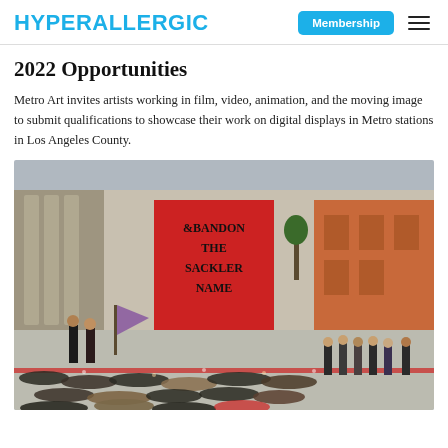HYPERALLERGIC
2022 Opportunities
Metro Art invites artists working in film, video, animation, and the moving image to submit qualifications to showcase their work on digital displays in Metro stations in Los Angeles County.
[Figure (photo): Protest at a museum courtyard. People lying on the ground in a die-in protest. A large red banner reads 'ABANDON THE SACKLER NAME'. Bystanders observe the demonstration outside a classical stone building.]